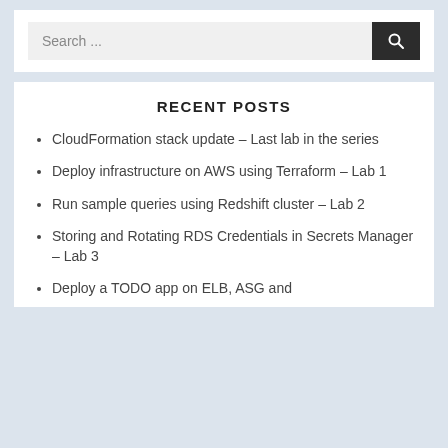Search ...
RECENT POSTS
CloudFormation stack update – Last lab in the series
Deploy infrastructure on AWS using Terraform – Lab 1
Run sample queries using Redshift cluster – Lab 2
Storing and Rotating RDS Credentials in Secrets Manager – Lab 3
Deploy a TODO app on ELB, ASG and